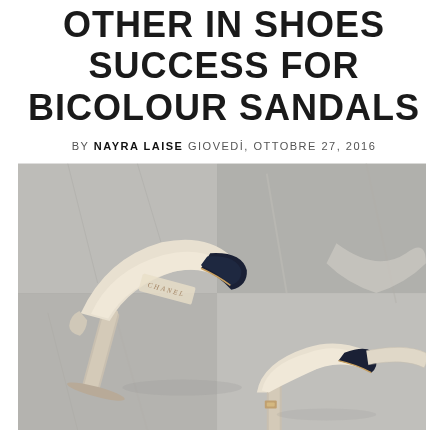OTHER IN SHOES SUCCESS FOR BICOLOUR SANDALS
BY NAYRA LAISE GIOVEDÌ, OTTOBRE 27, 2016
[Figure (photo): Two bicolour Chanel slingback sandals with navy toe caps and cream/beige body, photographed flat-lay on a grey textured surface. The shoes show the CHANEL branding on the insole.]